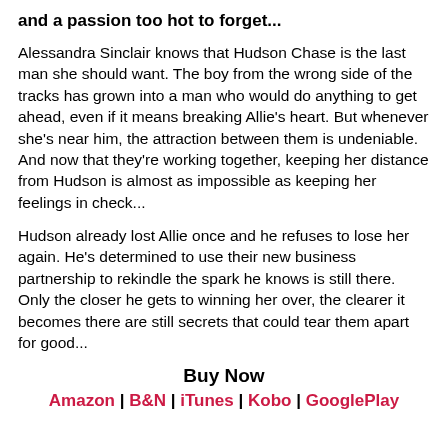and a passion too hot to forget...
Alessandra Sinclair knows that Hudson Chase is the last man she should want. The boy from the wrong side of the tracks has grown into a man who would do anything to get ahead, even if it means breaking Allie's heart. But whenever she's near him, the attraction between them is undeniable. And now that they're working together, keeping her distance from Hudson is almost as impossible as keeping her feelings in check...
Hudson already lost Allie once and he refuses to lose her again. He's determined to use their new business partnership to rekindle the spark he knows is still there. Only the closer he gets to winning her over, the clearer it becomes there are still secrets that could tear them apart for good...
Buy Now
Amazon | B&N | iTunes | Kobo | GooglePlay